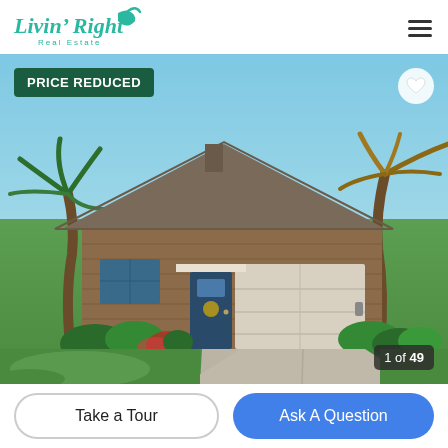Livin' Right Real Estate
[Figure (photo): Front exterior of a single-story brick home with a two-car garage, palm trees on both sides, flowering landscaping, green lawn, and concrete driveway. Blue sky background. Badge overlay: PRICE REDUCED (top left), heart icon (top right), 1 of 49 counter (bottom right).]
Take a Tour
Ask A Question